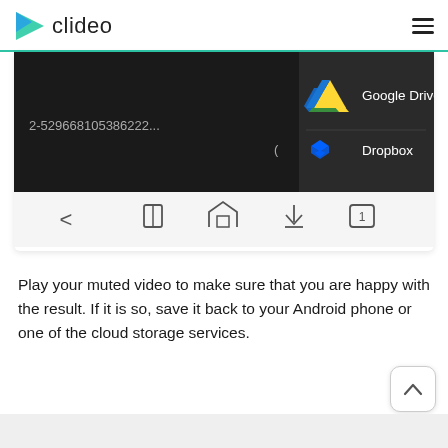clideo
[Figure (screenshot): A screenshot of a mobile browser showing a video editor interface with a dark video area displaying '2-529668105386222...' and a dropdown menu with options 'Google Drive' (with Google Drive icon) and 'Dropbox' (with Dropbox icon). Below the video area is a toolbar with navigation icons: back arrow, book, house, download arrow, and a tab icon showing '1'.]
Play your muted video to make sure that you are happy with the result. If it is so, save it back to your Android phone or one of the cloud storage services.